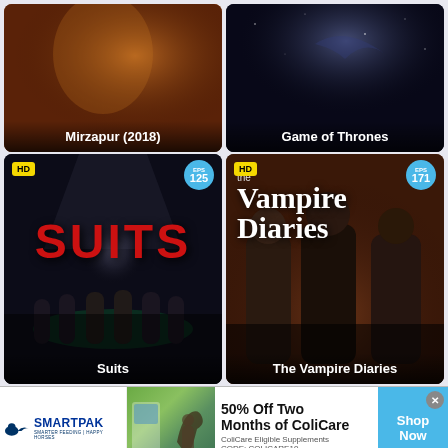[Figure (screenshot): Mirzapur (2018) TV show thumbnail with orange/fiery background]
[Figure (screenshot): Game of Thrones TV show thumbnail with dark space/night background]
[Figure (screenshot): Suits TV show thumbnail with HD badge, EPS 125, red SUITS logo text and cast under spotlight, HD quality]
[Figure (screenshot): The Vampire Diaries TV show thumbnail with HD badge, EPS 171, cast photo on dark background]
[Figure (screenshot): SmartPak advertisement: 50% Off Two Months of ColiCare, ColiCare Eligible Supplements, CODE: COLICARE10, Shop Now button]